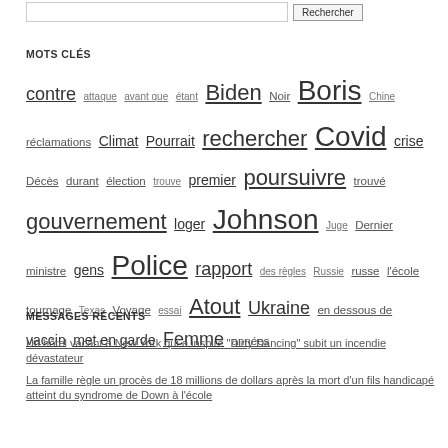MOTS CLÉS
contre attaque avant que étant Biden Noir Boris Chine réclamations Climat Pourrait rechercher Covid crise Décès durant élection trouve premier poursuivre trouvé gouvernement loger Johnson Juge Dernier ministre gens Police rapport des règles Russie russe l'école tournage Texas Voyage essai Atout Ukraine en dessous de vaccin met en garde Femme années
MESSAGES RÉCENTS
Un hôtel vacant à New York qui a inspiré "Dirty Dancing" subit un incendie dévastateur
La famille règle un procès de 18 millions de dollars après la mort d'un fils handicapé atteint du syndrome de Down à l'école